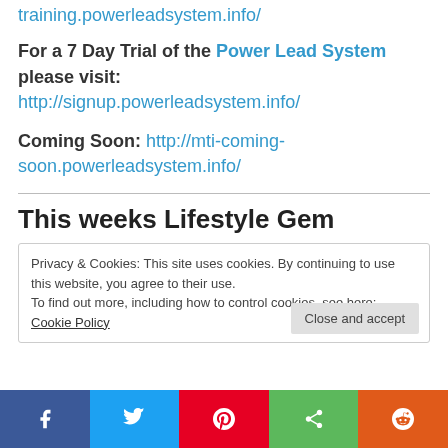training.powerleadsystem.info/
For a 7 Day Trial of the Power Lead System please visit: http://signup.powerleadsystem.info/
Coming Soon: http://mti-coming-soon.powerleadsystem.info/
This weeks Lifestyle Gem
Privacy & Cookies: This site uses cookies. By continuing to use this website, you agree to their use.
To find out more, including how to control cookies, see here: Cookie Policy
Facebook | Twitter | Pinterest | Share | Reddit